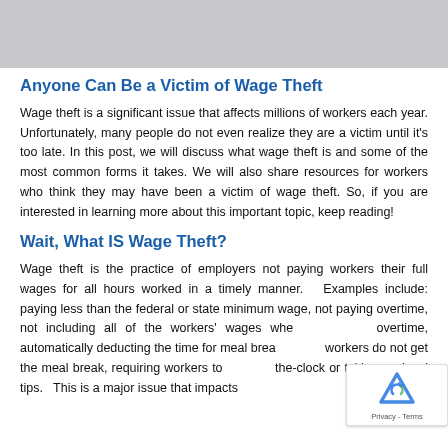[Figure (photo): Gray image banner at top of page]
Anyone Can Be a Victim of Wage Theft
Wage theft is a significant issue that affects millions of workers each year. Unfortunately, many people do not even realize they are a victim until it's too late. In this post, we will discuss what wage theft is and some of the most common forms it takes. We will also share resources for workers who think they may have been a victim of wage theft. So, if you are interested in learning more about this important topic, keep reading!
Wait, What IS Wage Theft?
Wage theft is the practice of employers not paying workers their full wages for all hours worked in a timely manner.  Examples include: paying less than the federal or state minimum wage, not paying overtime, not including all of the workers' wages whe... overtime, automatically deducting the time for meal brea... workers do not get the meal break, requiring workers to ... the-clock or taking workers' tips.  This is a major issue that impacts